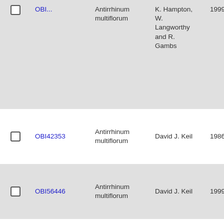|  | ID | Species | Collector | Date | Accession |
| --- | --- | --- | --- | --- | --- |
| ☐ | OBI... | Antirrhinum multiflorum | K. Hampton, W. Langworthy and R. Gambs | 1999-?-22 | ... |
| ☐ | OBI42353 | Antirrhinum multiflorum | David J. Keil | 1986-5-28 | 19612... |
| ☐ | OBI56446 | Antirrhinum multiflorum | David J. Keil | 1999-5-27 | 28351... |
| ☐ | OBI56511 | Antirrhinum multiflorum | T. J. Ayers, S. Junak & D. Shaw | May-89 | 722 |
| ☐ |  |  |  |  |  |